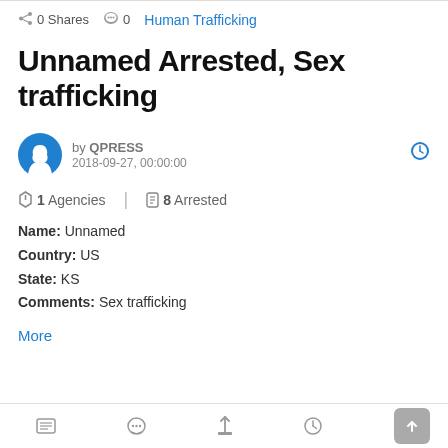0 Shares  0  Human Trafficking
Unnamed Arrested, Sex trafficking
by QPRESS
2018-09-27, 00:00:00
1 Agencies  8 Arrested
Name: Unnamed
Country: US
State: KS
Comments: Sex trafficking
More